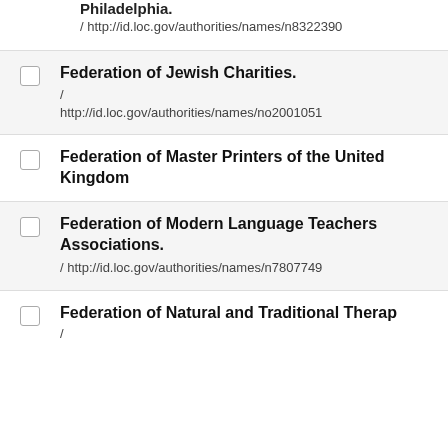Philadelphia.
/ http://id.loc.gov/authorities/names/n8322390
Federation of Jewish Charities.
/
http://id.loc.gov/authorities/names/no2001051
Federation of Master Printers of the United Kingdom
Federation of Modern Language Teachers Associations.
/ http://id.loc.gov/authorities/names/n7807749
Federation of Natural and Traditional Therap
/